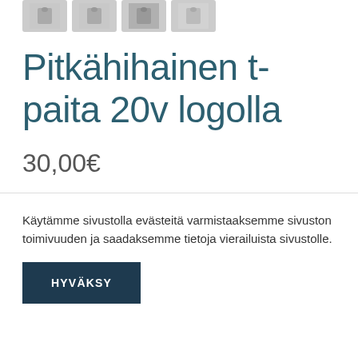[Figure (photo): Four small thumbnail images of t-shirts shown at the top of the page]
Pitkähihainen t-paita 20v logolla
30,00€
Käytämme sivustolla evästeitä varmistaaksemme sivuston toimivuuden ja saadaksemme tietoja vierailuista sivustolle.
HYVÄKSY